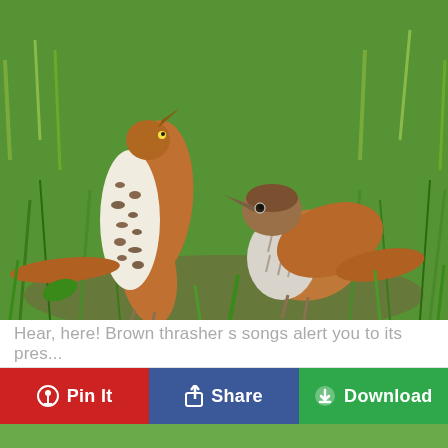[Figure (photo): Two brown thrasher birds standing in green grass. The bird on the left shows a speckled white and brown breast with rufous-brown wings; the bird on the right is smaller with a gray-brown streaked breast and rufous wings, facing left with its beak raised.]
Hear, here! Brown thrasher s songs alert you to its pres...
Pin It  Share  Download